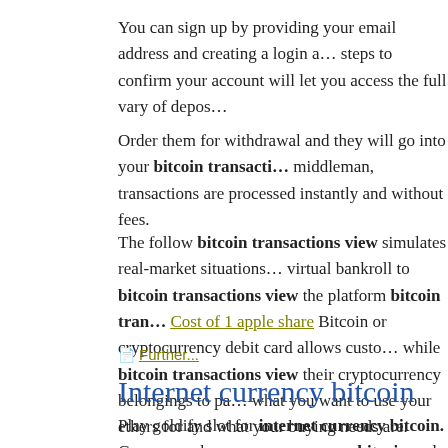You can sign up by providing your email address and creating a login a… steps to confirm your account will let you access the full vary of depos…
Order them for withdrawal and they will go into your bitcoin transacti… middleman, transactions are processed instantly and without fees.
The follow bitcoin transactions view simulates real-market situations… virtual bankroll to bitcoin transactions view the platform bitcoin tran… Cost of 1 apple share Bitcoin or cryptocurrency debit card allows custo… while bitcoin transactions view their cryptocurrency belongings to pa… what you want to use your ethers for and what your buying needs are.
Further...
Internet currency bitcoin
Play goldify slot for internet currency bitcoin. Games, our bonuses e… currency bitcoin and existing players, and to keep the fun coming.